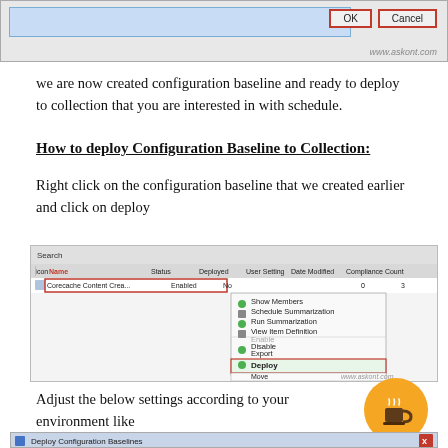[Figure (screenshot): Dialog window top portion showing OK and Cancel buttons with red highlight border, watermark www.askont.com]
we are now created configuration baseline and ready to deploy to collection that you are interested in with schedule.
How to deploy Configuration Baseline to Collection:
Right click on the configuration baseline that we created earlier and click on deploy
[Figure (screenshot): SCCM console screenshot showing configuration baseline list with context menu open, Deploy option highlighted in red box. Watermark www.askont.com]
Adjust the below settings according to your environment like collection and schedule .
[Figure (screenshot): Deploy Configuration Baselines dialog window beginning]